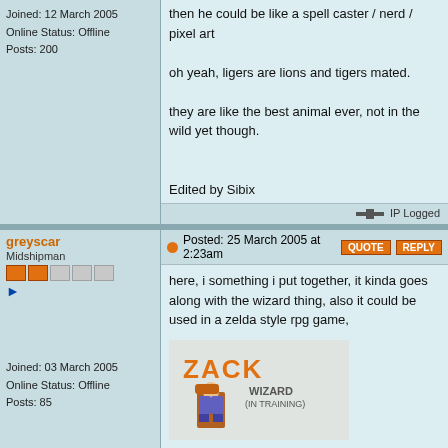Joined: 12 March 2005
Online Status: Offline
Posts: 200
then he could be like a spell caster / nerd / pixel art

oh yeah, ligers are lions and tigers mated.

they are like the best animal ever, not in the wild yet though.

Edited by Sibix
IP Logged
greyscar
Midshipman
Posted: 25 March 2005 at 2:23am
here, i something i put together, it kinda goes along with the wizard thing, also it could be used in a zelda style rpg game,
[Figure (illustration): Pixel art image of a wizard character named ZACK with text WIZARD (IN TRAINING)]
ill look into doing more poses, this is just a concept

-ollie
[Figure (illustration): Forum signature image with pixel art logo/banner]
IP Logged
Joined: 03 March 2005
Online Status: Offline
Posts: 85